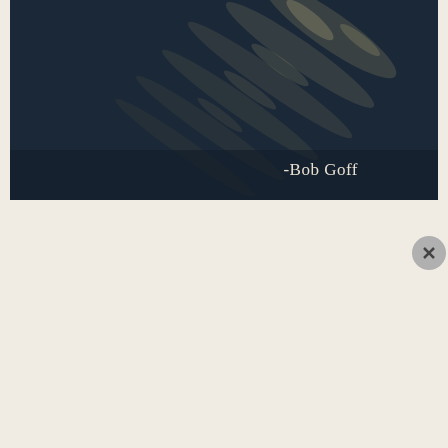[Figure (photo): Dark atmospheric photo with light reflections — quote image with text '-Bob Goff' in white serif font at bottom right]
Privacy & Cookies: This site uses cookies. By continuing to use this website, you agree to their use.
To find out more, including how to control cookies, see here: Cookie Policy
Close and accept